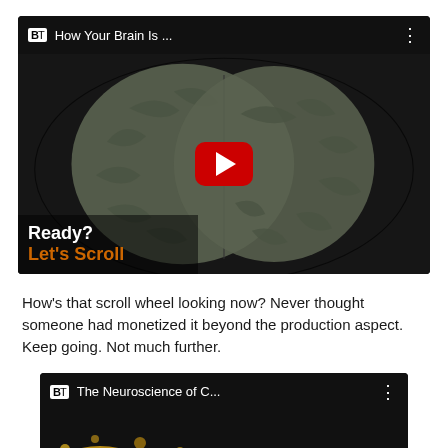[Figure (screenshot): YouTube video thumbnail for 'How Your Brain Is ...' showing a dark background with a 3D brain image, a red YouTube play button in the center, and overlay text 'Ready? Let's Scroll' in white and orange]
How's that scroll wheel looking now? Never thought someone had monetized it beyond the production aspect. Keep going. Not much further.
[Figure (screenshot): YouTube video thumbnail for 'The Neuroscience of C...' showing a dark background with yellow/gold splash or explosion graphic at the bottom]